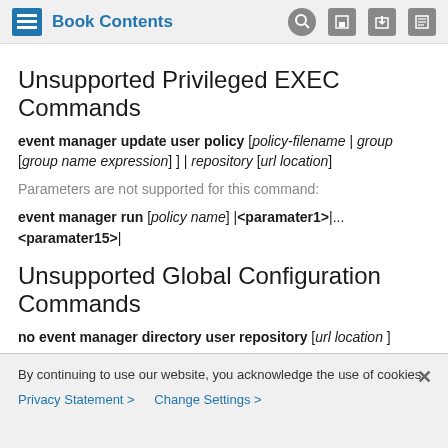Book Contents
Unsupported Privileged EXEC Commands
event manager update user policy [policy-filename | group [group name expression] ] | repository [url location]
Parameters are not supported for this command:
event manager run [policy name] |<paramater1>|...<paramater15>|
Unsupported Global Configuration Commands
no event manager directory user repository [url location ]
event manager applet [applet-name] maxrun
By continuing to use our website, you acknowledge the use of cookies. Privacy Statement > Change Settings >